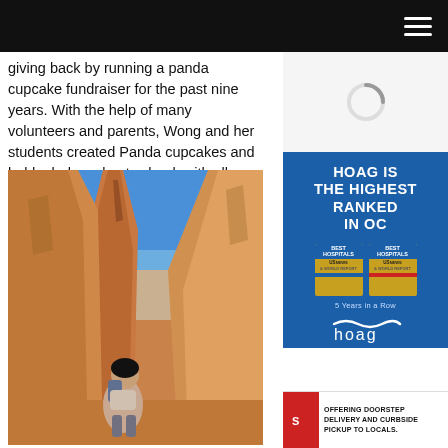Navigation header with hamburger menu
giving back by running a panda cupcake fundraiser for the past nine years. With the help of many volunteers and parents, Wong and her students created Panda cupcakes and held a bake sale at school, with all proceeds going to The Panda International Foundation.
[Figure (photo): Woman hiker sitting among red rock hoodoo formations at Bryce Canyon, blue sky background]
[Figure (other): Loading spinner / circular progress indicator]
[Figure (infographic): Hoag Hospital advertisement: HOAG IS THE HIGHEST RANKED IN OC. Best Hospitals U.S. News badges. 5 Years in a Row. Hoag logo. Learn More button.]
[Figure (infographic): Sprig advertisement: Offering doorstep delivery and curbside pickup to locals.]